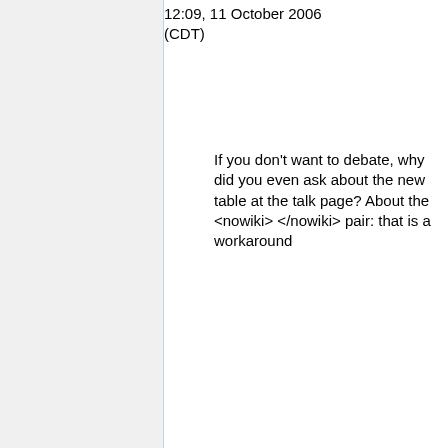12:09, 11 October 2006 (CDT)
If you don't want to debate, why did you even ask about the new table at the talk page? About the <nowiki></nowiki> pair: that is a workaround